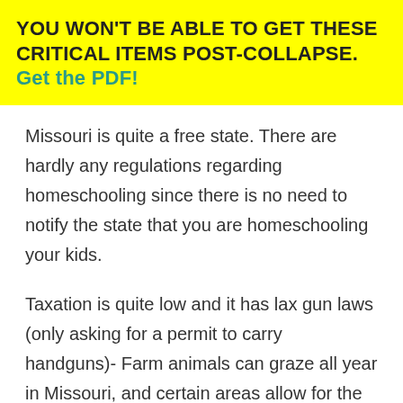YOU WON'T BE ABLE TO GET THESE CRITICAL ITEMS POST-COLLAPSE. Get the PDF!
Missouri is quite a free state. There are hardly any regulations regarding homeschooling since there is no need to notify the state that you are homeschooling your kids.
Taxation is quite low and it has lax gun laws (only asking for a permit to carry handguns)- Farm animals can graze all year in Missouri, and certain areas allow for the growing of grain for feed and cultivation of livestock.